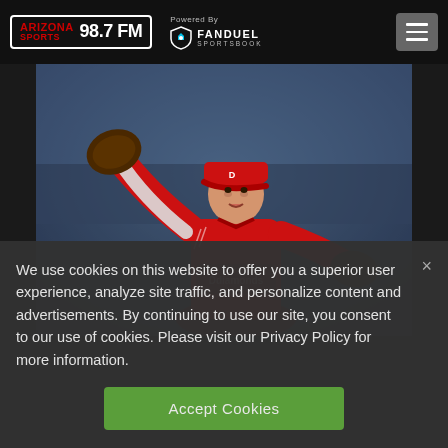ARIZONA SPORTS 98.7 FM — Powered By FANDUEL SPORTSBOOK
[Figure (photo): Arizona Diamondbacks baseball pitcher in red uniform mid-pitch delivery, wearing red cap with D-backs logo]
We use cookies on this website to offer you a superior user experience, analyze site traffic, and personalize content and advertisements. By continuing to use our site, you consent to our use of cookies. Please visit our Privacy Policy for more information.
Accept Cookies